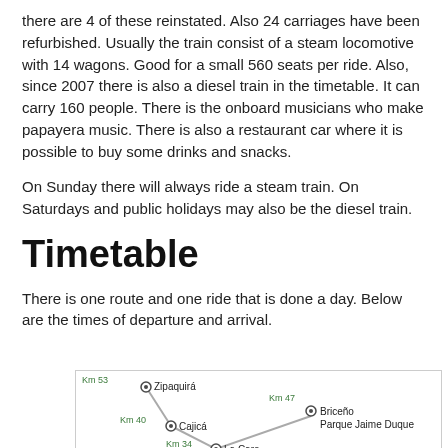there are 4 of these reinstated. Also 24 carriages have been refurbished. Usually the train consist of a steam locomotive with 14 wagons. Good for a small 560 seats per ride. Also, since 2007 there is also a diesel train in the timetable. It can carry 160 people. There is the onboard musicians who make papayera music. There is also a restaurant car where it is possible to buy some drinks and snacks.
On Sunday there will always ride a steam train. On Saturdays and public holidays may also be the diesel train.
Timetable
There is one route and one ride that is done a day. Below are the times of departure and arrival.
[Figure (map): Route map showing train stops: Km 53 Zipaquirá, Km 47 Briceño Parque Jaime Duque, Km 40 Cajicá, Km 34 La Caro, connected by lines]